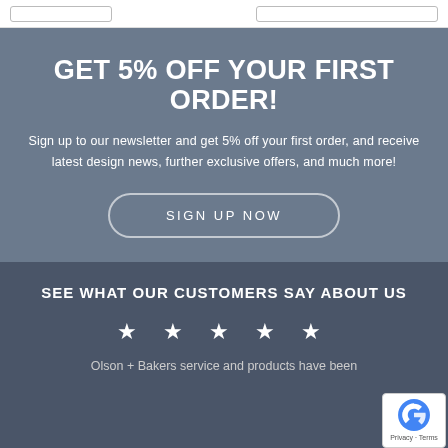GET 5% OFF YOUR FIRST ORDER!
Sign up to our newsletter and get 5% off your first order, and receive latest design news, further exclusive offers, and much more!
SIGN UP NOW
SEE WHAT OUR CUSTOMERS SAY ABOUT US
★ ★ ★ ★ ★
Olson + Bakers service and products have been